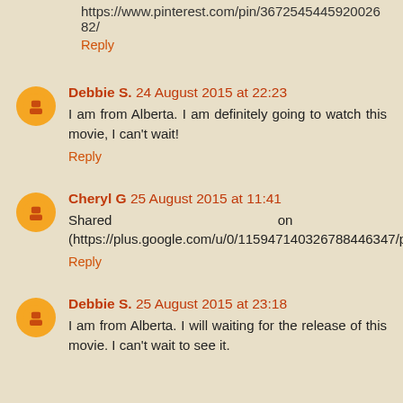https://www.pinterest.com/pin/367254544592002682/
Reply
Debbie S. 24 August 2015 at 22:23
I am from Alberta. I am definitely going to watch this movie, I can't wait!
Reply
Cheryl G 25 August 2015 at 11:41
Shared on Google+ (https://plus.google.com/u/0/115947140326788446347/posts/6QKkA47SMtU).
Reply
Debbie S. 25 August 2015 at 23:18
I am from Alberta. I will waiting for the release of this movie. I can't wait to see it.